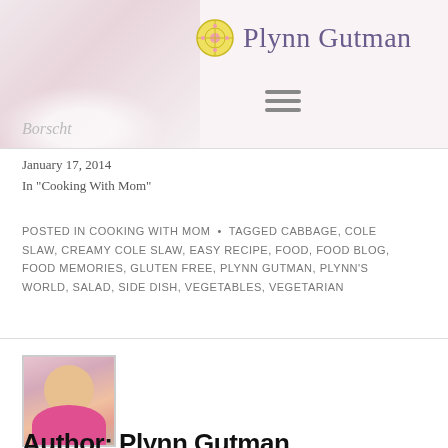Plynn Gutman
Borscht
January 17, 2014
In "Cooking With Mom"
POSTED IN COOKING WITH MOM • TAGGED CABBAGE, COLE SLAW, CREAMY COLE SLAW, EASY RECIPE, FOOD, FOOD BLOG, FOOD MEMORIES, GLUTEN FREE, PLYNN GUTMAN, PLYNN'S WORLD, SALAD, SIDE DISH, VEGETABLES, VEGETARIAN
[Figure (photo): Headshot photo of a blonde woman in a pink top, outdoors with pink flowers in background]
Author: Plynn Gutman